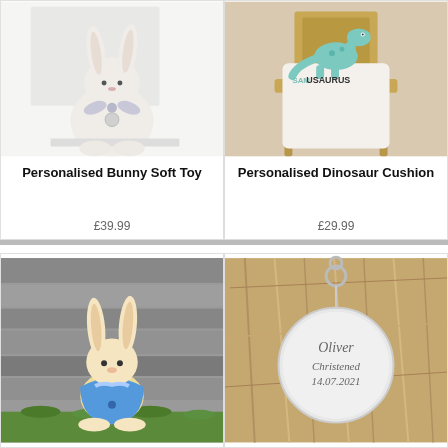[Figure (photo): White fluffy bunny soft toy with silver medallion and white ribbon bow, against a white background with a framed picture]
Personalised Bunny Soft Toy
£39.99
[Figure (photo): White cushion with teal dinosaur illustration and text 'SAMUSAURUS' on a wooden chair]
Personalised Dinosaur Cushion
£29.99
[Figure (photo): Crocheted Peter Rabbit style toy in blue jacket with white bow, on grass with grey wood background]
[Figure (photo): Silver circular tag engraved with 'Oliver Christened 14.07.2021' on a fur background]